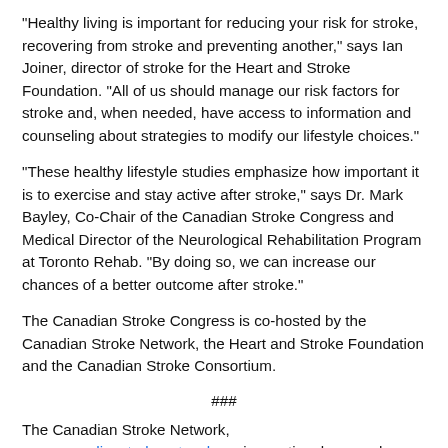"Healthy living is important for reducing your risk for stroke, recovering from stroke and preventing another," says Ian Joiner, director of stroke for the Heart and Stroke Foundation. "All of us should manage our risk factors for stroke and, when needed, have access to information and counseling about strategies to modify our lifestyle choices."
"These healthy lifestyle studies emphasize how important it is to exercise and stay active after stroke," says Dr. Mark Bayley, Co-Chair of the Canadian Stroke Congress and Medical Director of the Neurological Rehabilitation Program at Toronto Rehab. "By doing so, we can increase our chances of a better outcome after stroke."
The Canadian Stroke Congress is co-hosted by the Canadian Stroke Network, the Heart and Stroke Foundation and the Canadian Stroke Consortium.
###
The Canadian Stroke Network, www.canadianstrokenetwork.ca, is a national research network headquartered at the University of